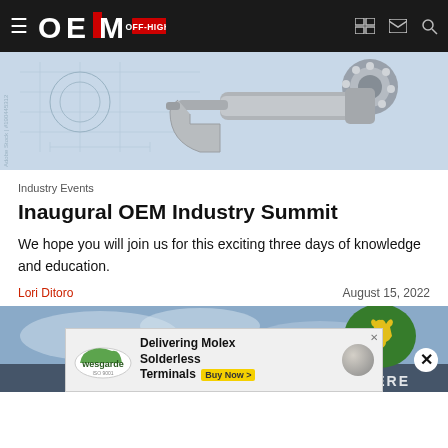OEM OFF-HIGHWAY
[Figure (photo): Engineering blueprint with micrometer and ball bearing on technical drawing]
Industry Events
Inaugural OEM Industry Summit
We hope you will join us for this exciting three days of knowledge and education.
Lori Ditoro | August 15, 2022
[Figure (photo): John Deere equipment against cloudy sky background]
[Figure (other): Advertisement: Wesgarde - Delivering Molex Solderless Terminals. Buy Now >]